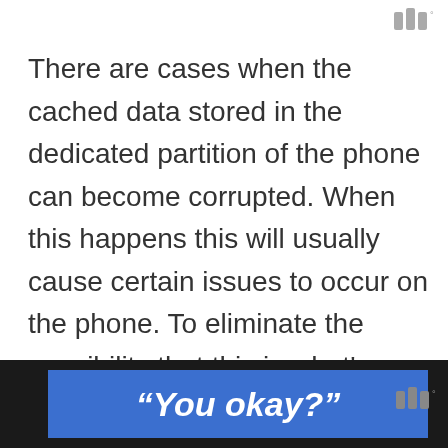W°
There are cases when the cached data stored in the dedicated partition of the phone can become corrupted. When this happens this will usually cause certain issues to occur on the phone. To eliminate the possibility that this is what's causing the problem you will have to wipe the cache partition of the phone from the recovery mode.
"You okay?"